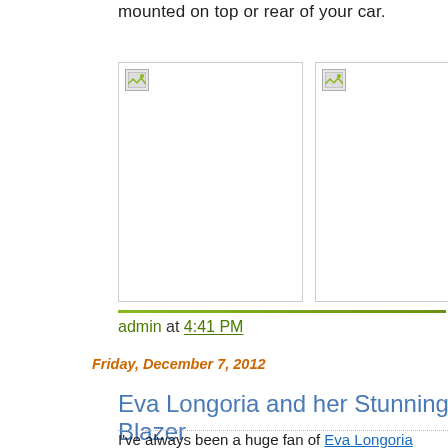mounted on top or rear of your car.
[Figure (photo): Two placeholder images side by side with broken image icons]
admin at 4:41 PM
Friday, December 7, 2012
Eva Longoria and her Stunning Yellow Blazer
I've always been a huge fan of Eva Longoria when it comes pretty sure that some of her fans would even go on their way to a paparazzi just to be near her. Not sure though if someone alre in the past that might end up into background checks like the www.easybackgrounds.com. I know it will be a hassle for her bei
Anyway, Eva looks sophisticated and wear any kind of clothes e love this style where she is wearing a white shirt, white pants. yellow blazer that looks so stunning on her.Would like to com